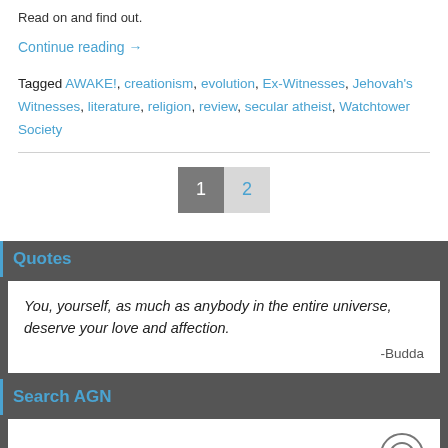Read on and find out.
Continue reading →
Tagged AWAKE!, creationism, evolution, Ex-Witnesses, Jehovah's Witnesses, literature, religion, review, secular atheist, Watchtower Society
1  2 (pagination)
Quotes
You, yourself, as much as anybody in the entire universe, deserve your love and affection. -Budda
Search AGN
Loading
Subscribe to Atheist Geek News!